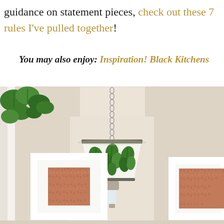guidance on statement pieces, check out these 7 rules I've pulled together!
You may also enjoy: Inspiration! Black Kitchens
[Figure (photo): Interior room photo showing a hanging pendant lamp with a white and green botanical print shade, suspended by a chain from the ceiling. On the walls are two framed art pieces with terracotta/rust colored mosaic or textile interiors with white frames. A green leafy plant is visible in the upper left corner.]